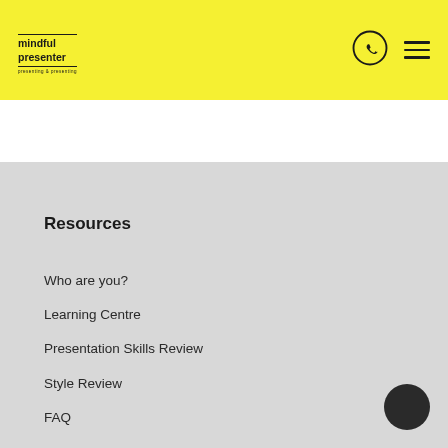mindful presenter — resources & navigation
[Figure (logo): Mindful Presenter logo with text 'mindful presenter' and tagline]
Resources
Who are you?
Learning Centre
Presentation Skills Review
Style Review
FAQ